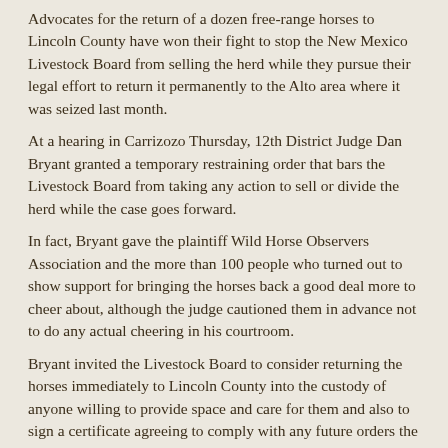Advocates for the return of a dozen free-range horses to Lincoln County have won their fight to stop the New Mexico Livestock Board from selling the herd while they pursue their legal effort to return it permanently to the Alto area where it was seized last month.
At a hearing in Carrizozo Thursday, 12th District Judge Dan Bryant granted a temporary restraining order that bars the Livestock Board from taking any action to sell or divide the herd while the case goes forward.
In fact, Bryant gave the plaintiff Wild Horse Observers Association and the more than 100 people who turned out to show support for bringing the horses back a good deal more to cheer about, although the judge cautioned them in advance not to do any actual cheering in his courtroom.
Bryant invited the Livestock Board to consider returning the horses immediately to Lincoln County into the custody of anyone willing to provide space and care for them and also to sign a certificate agreeing to comply with any future orders the judge issues in the case.
And he sent a strong signal that WHOA has a strong shot at eventually persuading him that the Alto herd should be